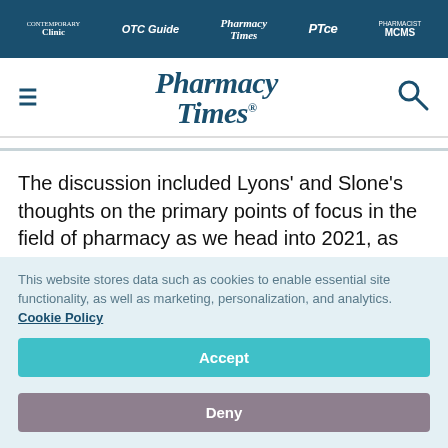Contemporary Clinic | OTC Guide | Pharmacy Times | PTce | Pharmacist MOMS
[Figure (logo): Pharmacy Times logo with hamburger menu and search icon]
The discussion included Lyons' and Slone's thoughts on the primary points of focus in the field of pharmacy as we head into 2021, as well as how lessons learned from 2020 that may help
This website stores data such as cookies to enable essential site functionality, as well as marketing, personalization, and analytics. Cookie Policy
Accept
Deny